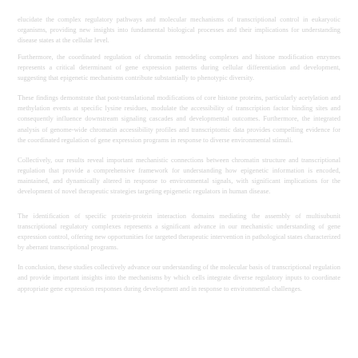elucidate the complex regulatory pathways and molecular mechanisms of transcriptional control in eukaryotic organisms, providing new insights into fundamental biological processes and their implications for understanding disease states at the cellular level.
Furthermore, the coordinated regulation of chromatin remodeling complexes and histone modification enzymes represents a critical determinant of gene expression patterns during cellular differentiation and development, suggesting that epigenetic mechanisms contribute substantially to phenotypic diversity.
These findings demonstrate that post-translational modifications of core histone proteins, particularly acetylation and methylation events at specific lysine residues, modulate the accessibility of transcription factor binding sites and consequently influence downstream signaling cascades and developmental outcomes.
Collectively, our results reveal important mechanistic connections between chromatin structure and transcriptional regulation that provide a comprehensive framework for understanding how epigenetic information is encoded, maintained, and dynamically altered in response to environmental signals.